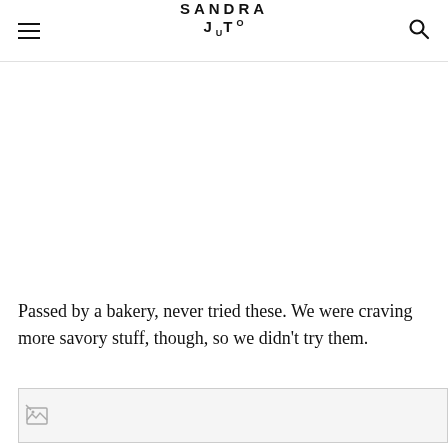SANDRA JUTO
Passed by a bakery, never tried these. We were craving more savory stuff, though, so we didn't try them.
[Figure (photo): Broken/missing image placeholder at bottom of page]